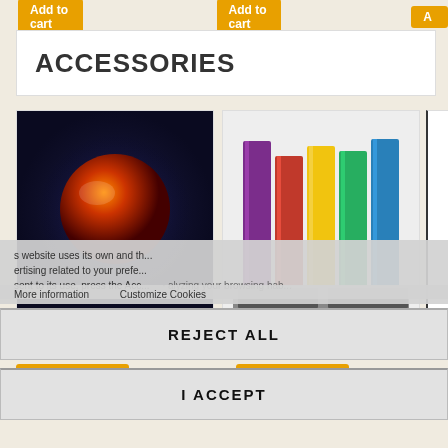[Figure (screenshot): Top bar with Add to cart buttons (orange) on beige background, partially visible]
ACCESSORIES
[Figure (photo): Product card 1: dark DVD/media box product image]
[Figure (photo): Product card 2: colorful ring binders/folders in purple, red, yellow, green, blue]
This website uses its own and third-party cookies to improve our services and to show advertising related to your preferences by analyzing your browsing habits. If you consent to its use, press the Accept button.
More information    Customize Cookies
REJECT ALL
I ACCEPT
18,00 €
33,25 €
6,6
[Figure (screenshot): Add to cart button (orange) bottom left]
[Figure (screenshot): Add to cart button (orange) bottom right]